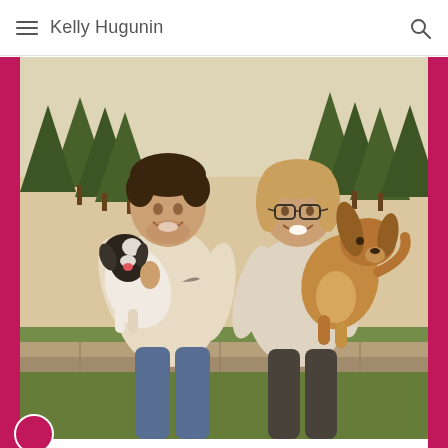Kelly Hugunin
[Figure (photo): A couple sitting outdoors on a stone wall, each holding a dog. The man on the left holds a black-and-white puppy; the woman on the right with glasses holds a golden-brown dog. Tall evergreen trees are visible in the background on a sunny day.]